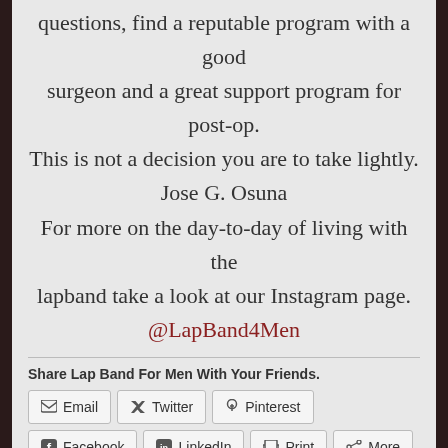questions, find a reputable program with a good surgeon and a great support program for post-op. This is not a decision you are to take lightly.

Jose G. Osuna

For more on the day-to-day of living with the lapband take a look at our Instagram page. @LapBand4Men
Share Lap Band For Men With Your Friends.
Email | Twitter | Pinterest | Facebook | LinkedIn | Print | More
Like